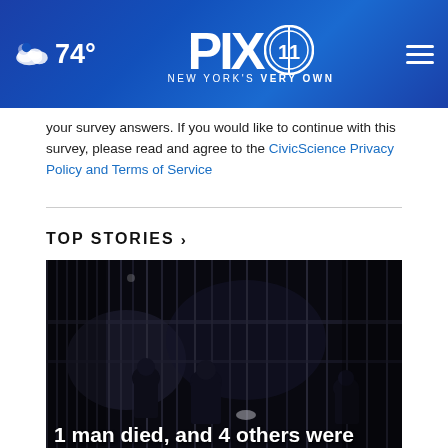PIX 11 - NEW YORK'S VERY OWN - 74°
your survey answers. If you would like to continue with this survey, please read and agree to the CivicScience Privacy Policy and Terms of Service
TOP STORIES ›
[Figure (photo): Dark nighttime scene showing people near metal gate bars, appears to be a news scene. Police or figures visible in dark setting.]
1 man died, and 4 others were